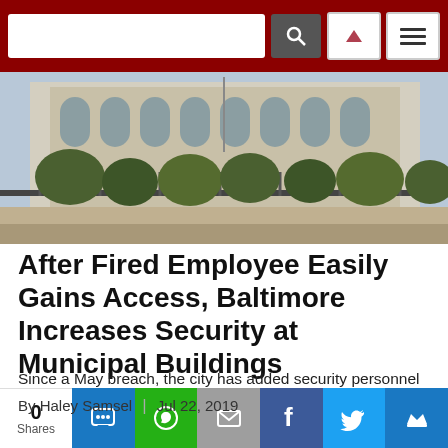Search bar and navigation icons
[Figure (photo): Exterior photo of Baltimore municipal building with trees and fence in foreground]
After Fired Employee Easily Gains Access, Baltimore Increases Security at Municipal Buildings
Since a May breach, the city has added security personnel at several buildings and plans to increase employee awareness of how to report suspicious activity.
By Haley Samsel | Jul 22, 2019
0 Shares — social sharing buttons: SMS, WhatsApp, Email, Facebook, Twitter, Crown